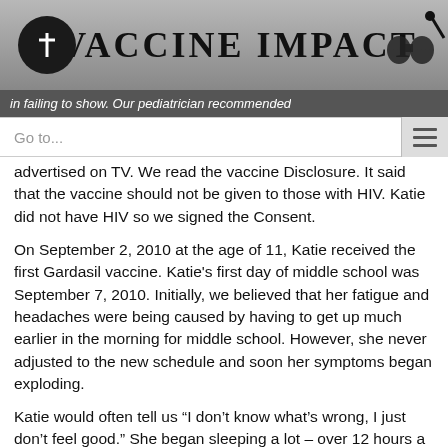Vaccine Impact
in failing to show.  Our pediatrician recommended
Go to...
advertised on TV.  We read the vaccine Disclosure.  It said that the vaccine should not be given to those with HIV.  Katie did not have HIV so we signed the Consent.
On September 2, 2010 at the age of 11, Katie received the first Gardasil vaccine.  Katie's first day of middle school was September 7, 2010.  Initially, we believed that her fatigue and headaches were being caused by having to get up much earlier in the morning for middle school.  However, she never adjusted to the new schedule and soon her symptoms began exploding.
Katie would often tell us “I don’t know what’s wrong, I just don’t feel good.”  She began sleeping a lot – over 12 hours a day and even more on the weekends, which would allow her gather enough energy to go to school a few days before she crashed again.  She missed days at school, dance